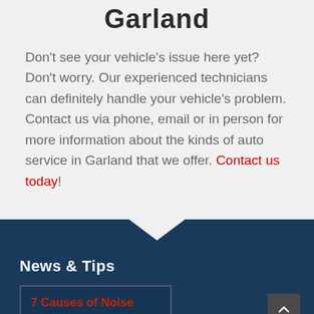Garland
Don't see your vehicle's issue here yet? Don't worry. Our experienced technicians can definitely handle your vehicle's problem. Contact us via phone, email or in person for more information about the kinds of auto service in Garland that we offer. Contact us today!
News & Tips
7 Causes of Noise When Turning the Steering Wheel